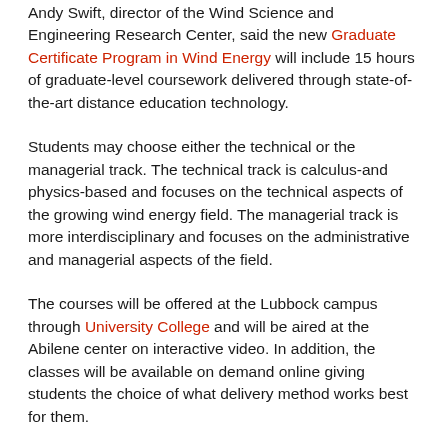Andy Swift, director of the Wind Science and Engineering Research Center, said the new Graduate Certificate Program in Wind Energy will include 15 hours of graduate-level coursework delivered through state-of-the-art distance education technology.
Students may choose either the technical or the managerial track. The technical track is calculus-and physics-based and focuses on the technical aspects of the growing wind energy field. The managerial track is more interdisciplinary and focuses on the administrative and managerial aspects of the field.
The courses will be offered at the Lubbock campus through University College and will be aired at the Abilene center on interactive video. In addition, the classes will be available on demand online giving students the choice of what delivery method works best for them.
The Wind Science and Engineering (WISE) Research Center was established in 1970 and is